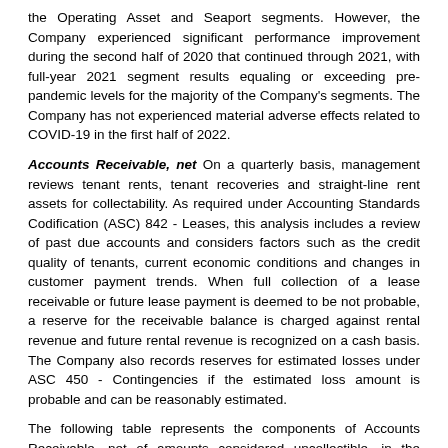the Operating Asset and Seaport segments. However, the Company experienced significant performance improvement during the second half of 2020 that continued through 2021, with full-year 2021 segment results equaling or exceeding pre-pandemic levels for the majority of the Company's segments. The Company has not experienced material adverse effects related to COVID-19 in the first half of 2022.
Accounts Receivable, net On a quarterly basis, management reviews tenant rents, tenant recoveries and straight-line rent assets for collectability. As required under Accounting Standards Codification (ASC) 842 - Leases, this analysis includes a review of past due accounts and considers factors such as the credit quality of tenants, current economic conditions and changes in customer payment trends. When full collection of a lease receivable or future lease payment is deemed to be not probable, a reserve for the receivable balance is charged against rental revenue and future rental revenue is recognized on a cash basis. The Company also records reserves for estimated losses under ASC 450 - Contingencies if the estimated loss amount is probable and can be reasonably estimated.
The following table represents the components of Accounts Receivable, net of amounts considered uncollectible, in the accompanying Condensed Consolidated Balance Sheets:
|  | June 30, | December |
| --- | --- | --- |